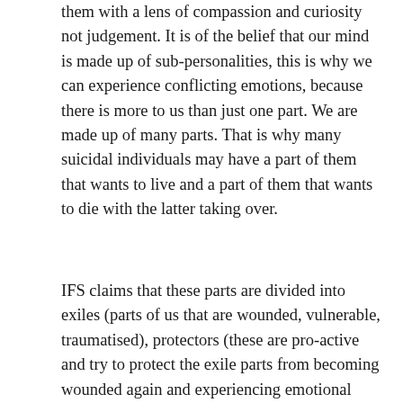them with a lens of compassion and curiosity not judgement. It is of the belief that our mind is made up of sub-personalities, this is why we can experience conflicting emotions, because there is more to us than just one part. We are made up of many parts. That is why many suicidal individuals may have a part of them that wants to live and a part of them that wants to die with the latter taking over.
IFS claims that these parts are divided into exiles (parts of us that are wounded, vulnerable, traumatised), protectors (these are pro-active and try to protect the exile parts from becoming wounded again and experiencing emotional flooding which overwhelms us), and finally the firefighters (these parts are reactive and try to end the pain, these are the parts that can have us feel suicidal or act on suicide). So what we see, is that suicide is an act of self protection, an attempt to protect